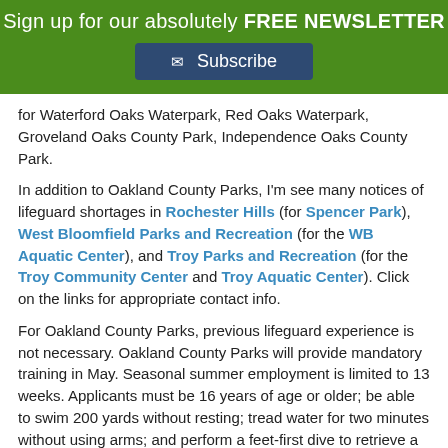Sign up for our absolutely FREE NEWSLETTER
Subscribe
for Waterford Oaks Waterpark, Red Oaks Waterpark, Groveland Oaks County Park, Independence Oaks County Park.
In addition to Oakland County Parks, I'm see many notices of lifeguard shortages in Rochester Hills (for Spencer Park), West Bloomfield Parks and Recreation (for the WB Aquatic Center), and Troy Parks and Recreation (for the Troy Community Center and Troy Aquatic Center). Click on the links for appropriate contact info.
For Oakland County Parks, previous lifeguard experience is not necessary. Oakland County Parks will provide mandatory training in May. Seasonal summer employment is limited to 13 weeks. Applicants must be 16 years of age or older; be able to swim 200 yards without resting; tread water for two minutes without using arms; and perform a feet-first dive to retrieve a brick at an eight-foot depth.